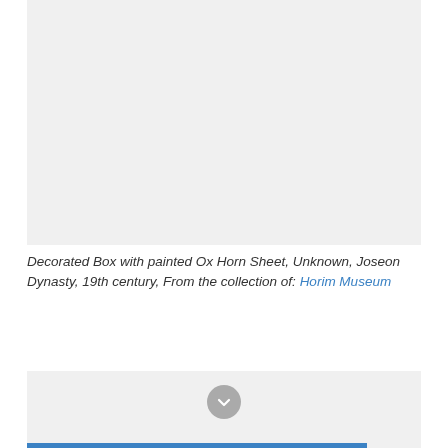[Figure (photo): Gray placeholder area representing an image of a Decorated Box with painted Ox Horn Sheet from the Joseon Dynasty]
Decorated Box with painted Ox Horn Sheet, Unknown, Joseon Dynasty, 19th century, From the collection of: Horim Museum
[Figure (other): Gray placeholder area with a circular chevron/expand button in the center, and a blue navigation bar at the bottom]